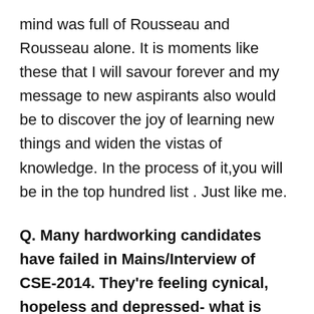mind was full of Rousseau and Rousseau alone. It is moments like these that I will savour forever and my message to new aspirants also would be to discover the joy of learning new things and widen the vistas of knowledge. In the process of it,you will be in the top hundred list . Just like me.
Q. Many hardworking candidates have failed in Mains/Interview of CSE-2014. They're feeling cynical, hopeless and depressed- what is your message to them?